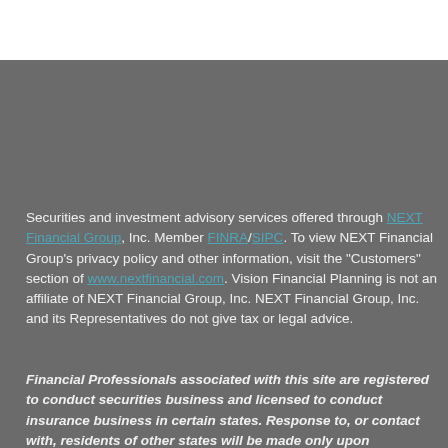Securities and investment advisory services offered through NEXT Financial Group, Inc. Member FINRA/SIPC. To view NEXT Financial Group's privacy policy and other information, visit the "Customers" section of www.nextfinancial.com. Vision Financial Planning is not an affiliate of NEXT Financial Group, Inc. NEXT Financial Group, Inc. and its Representatives do not give tax or legal advice.
Financial Professionals associated with this site are registered to conduct securities business and licensed to conduct insurance business in certain states. Response to, or contact with, residents of other states will be made only upon compliance with applicable licensing and registration requirements. The information in this website is for U.S. residents only and does